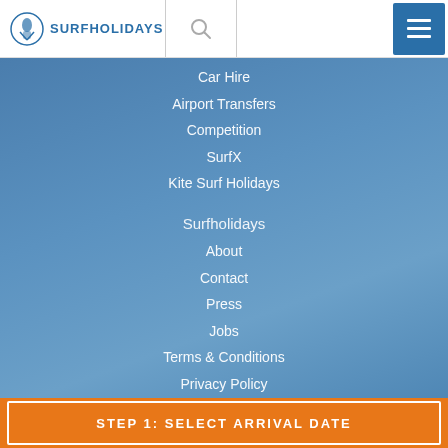SURFHOLIDAYS
Car Hire
Airport Transfers
Competition
SurfX
Kite Surf Holidays
Surfholidays
About
Contact
Press
Jobs
Terms & Conditions
Privacy Policy
STEP 1: SELECT ARRIVAL DATE